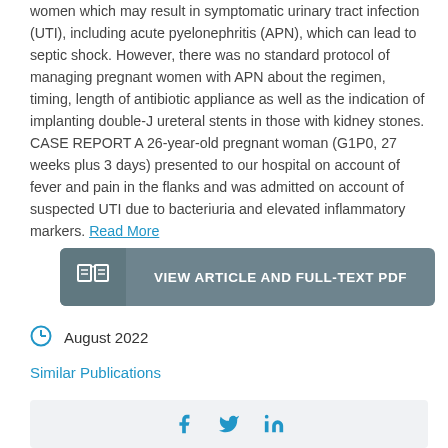women which may result in symptomatic urinary tract infection (UTI), including acute pyelonephritis (APN), which can lead to septic shock. However, there was no standard protocol of managing pregnant women with APN about the regimen, timing, length of antibiotic appliance as well as the indication of implanting double-J ureteral stents in those with kidney stones. CASE REPORT A 26-year-old pregnant woman (G1P0, 27 weeks plus 3 days) presented to our hospital on account of fever and pain in the flanks and was admitted on account of suspected UTI due to bacteriuria and elevated inflammatory markers. Read More
VIEW ARTICLE AND FULL-TEXT PDF
August 2022
Similar Publications